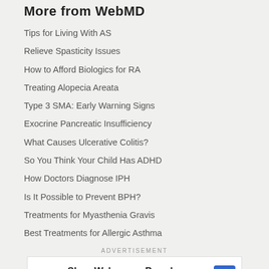More from WebMD
Tips for Living With AS
Relieve Spasticity Issues
How to Afford Biologics for RA
Treating Alopecia Areata
Type 3 SMA: Early Warning Signs
Exocrine Pancreatic Insufficiency
What Causes Ulcerative Colitis?
So You Think Your Child Has ADHD
How Doctors Diagnose IPH
Is It Possible to Prevent BPH?
Treatments for Myasthenia Gravis
Best Treatments for Allergic Asthma
ADVERTISEMENT
[Figure (other): Walgreens Brand advertisement banner with Walgreens logo, 'Shop Walgreens Brand' text, 'Walgreens Photo' subtitle, and navigation arrow icon]